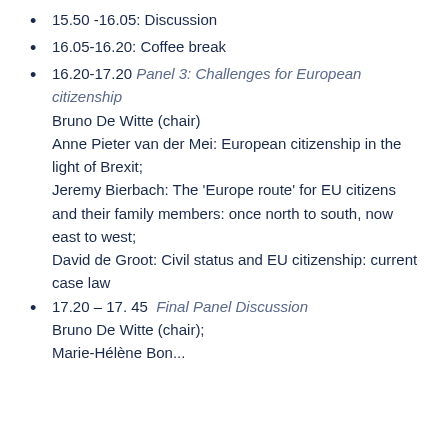15.50 -16.05: Discussion
16.05-16.20: Coffee break
16.20-17.20 Panel 3: Challenges for European citizenship
Bruno De Witte (chair)
Anne Pieter van der Mei: European citizenship in the light of Brexit;
Jeremy Bierbach: The ‘Europe route’ for EU citizens and their family members: once north to south, now east to west;
David de Groot: Civil status and EU citizenship: current case law
17.20 – 17. 45 Final Panel Discussion
Bruno De Witte (chair);
Marie-Hélène Bon...